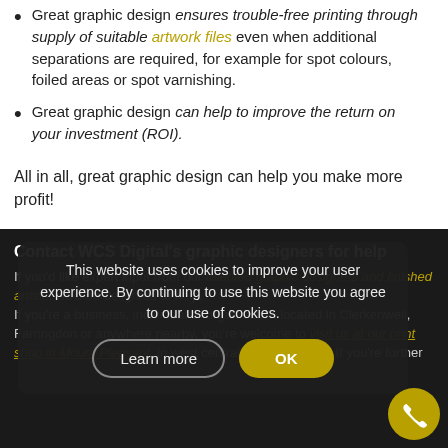Great graphic design ensures trouble-free printing through supply of suitable artwork files even when additional separations are required, for example for spot colours, foiled areas or spot varnishing.
Great graphic design can help to improve the return on your investment (ROI).
All in all, great graphic design can help you make more profit!
Contact WCS Digital's graphic designers for help
If you'd like expert input from our talented graphic designers and finished artists, we'd be delighted to help. If you're a business, individual or organisation located in Clerkenwell, Farringdon or anywhere nearby, you're welcome to visit us at our print shop in Mount Pleasant, in west central London (WC1). If you're further
This website uses cookies to improve your user experience. By continuing to use this website you agree to our use of cookies.